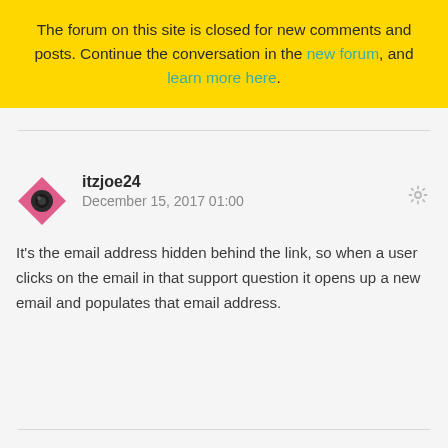The forum on this site is closed for new comments and posts. Continue the conversation in the new forum, and learn more here.
itzjoe24
December 15, 2017 01:00
It's the email address hidden behind the link, so when a user clicks on the email in that support question it opens up a new email and populates that email address.